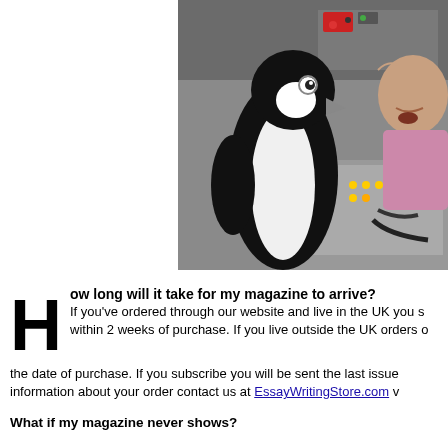[Figure (photo): A stuffed or real penguin sitting in front of a control panel/dashboard with lights and buttons, next to a man leaning in close to the penguin. The scene appears to be from a TV show or video.]
How long will it take for my magazine to arrive? If you've ordered through our website and live in the UK you should receive your order within 2 weeks of purchase. If you live outside the UK orders can take up to 4 weeks from the date of purchase. If you subscribe you will be sent the last issue available. For more information about your order contact us at EssayWritingStore.com w...
What if my magazine never shows?